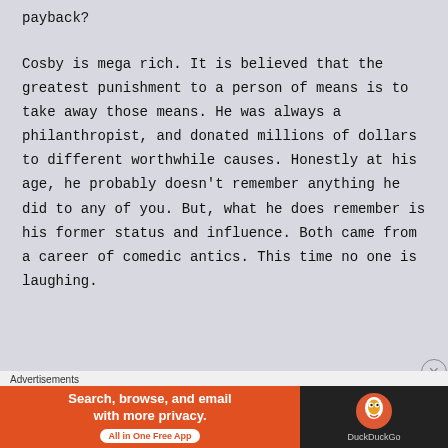payback?
Cosby is mega rich. It is believed that the greatest punishment to a person of means is to take away those means. He was always a philanthropist, and donated millions of dollars to different worthwhile causes. Honestly at his age, he probably doesn’t remember anything he did to any of you. But, what he does remember is his former status and influence. Both came from a career of comedic antics. This time no one is laughing.
Advertisements
[Figure (other): DuckDuckGo advertisement banner: orange left section with text 'Search, browse, and email with more privacy. All in One Free App', dark right section with DuckDuckGo duck logo and brand name.]